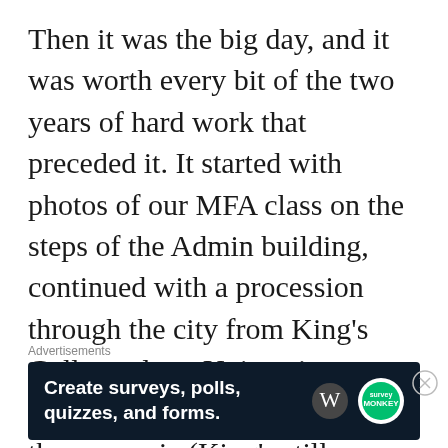Then it was the big day, and it was worth every bit of the two years of hard work that preceded it. It started with photos of our MFA class on the steps of the Admin building, continued with a procession through the city from King's College along University Avenue, and culminated with the encaenia (King's still uses the Latin word) at the Cathedral
Advertisements
[Figure (other): Advertisement banner with dark navy background reading 'Create surveys, polls, quizzes, and forms.' with WordPress and SurveyMonkey logos]